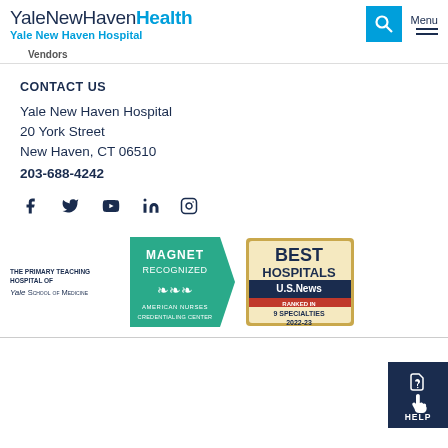YaleNewHavenHealth Yale New Haven Hospital
Vendors
CONTACT US
Yale New Haven Hospital
20 York Street
New Haven, CT 06510
203-688-4242
[Figure (infographic): Social media icons row: Facebook, Twitter, YouTube, LinkedIn, Instagram]
[Figure (infographic): THE PRIMARY TEACHING HOSPITAL OF Yale School of Medicine text block, Magnet Recognized American Nurses Credentialing Center badge in teal, Best Hospitals U.S. News Ranked in 9 Specialties 2022-23 badge in gold/blue]
[Figure (infographic): Help button with hand pointer icon and HELP text on dark navy background]